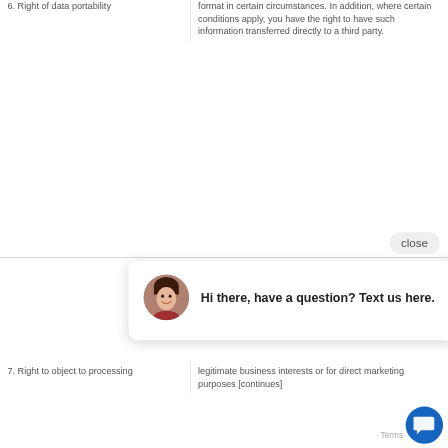| Right | Description |
| --- | --- |
| 6. Right of data portability | format in certain circumstances. In addition, where certain conditions apply, you have the right to have such information transferred directly to a third party. |
| 7. Right to object to processing | legitimate business interests or for direct marketing purposes [continues] |
close
Hi there, have a question? Text us here.